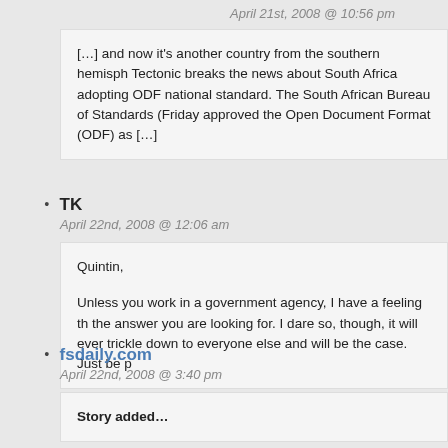April 21st, 2008 @ 10:56 pm
[…] and now it's another country from the southern hemisph Tectonic breaks the news about South Africa adopting ODF national standard. The South African Bureau of Standards ( Friday approved the Open Document Format (ODF) as […]
TK
April 22nd, 2008 @ 12:06 am
Quintin,

Unless you work in a government agency, I have a feeling th the answer you are looking for. I dare so, though, it will ever trickle down to everyone else and will be the case. Just be p
fsdaily.com
April 22nd, 2008 @ 3:40 pm
Story added…